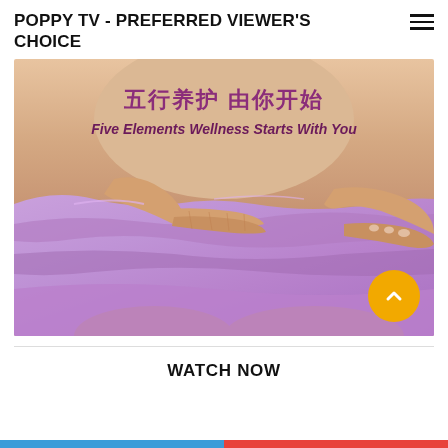POPPY TV - PREFERRED VIEWER'S CHOICE
[Figure (photo): Wellness promotional image showing a person wrapped in purple/lavender fabric with Chinese text '五行养护 由你开始' and English subtitle 'Five Elements Wellness Starts With You']
WATCH NOW